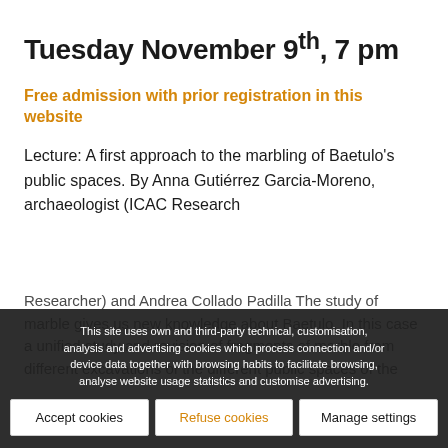Tuesday November 9th, 7 pm
Free admission with prior registration in this website
Lecture: A first approach to the marbling of Baetulo's public spaces. By Anna Gutiérrez Garcia-Moreno, archaeologist (ICAC Research Researcher) and Andrea Collado Padilla The study of marble gives us new knowledge about Baetulo. In this case a unified study and revision of fragments of marble from different excavations of the different public spaces of the community is carried out, which allows us to analyse the marbling of these and in the panorama...
This site uses own and third-party technical, customisation, analysis and advertising cookies which process connection and/or device data together with browsing habits to facilitate browsing, analyse website usage statistics and customise advertising.
Accept cookies | Refuse cookies | Manage settings